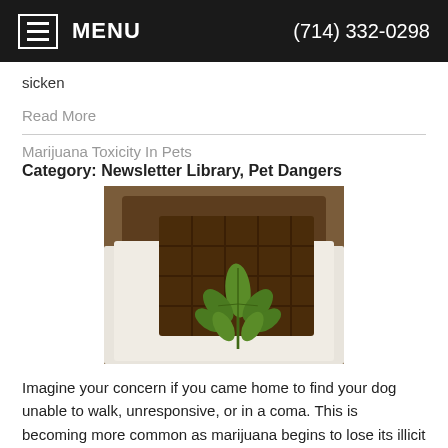MENU   (714) 332-0298
sicken
Read More
Marijuana Toxicity In Pets
Category: Newsletter Library, Pet Dangers
[Figure (photo): A bar of chocolate with a marijuana leaf resting on top, placed on a white cloth with a wooden background]
Imagine your concern if you came home to find your dog unable to walk, unresponsive, or in a coma. This is becoming more common as marijuana begins to lose its illicit status, at least in some areas of the world. As the decriminalization and even legalization of marijuana has occurred, cases of toxicity